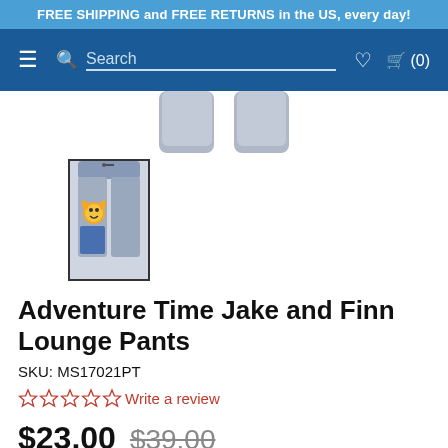FREE SHIPPING and FREE RETURNS in the US, every day!
Search (0)
[Figure (photo): Cropped top view of gray lounge pants (front and back) shown at top of product image area]
[Figure (photo): Thumbnail image with black border showing Adventure Time Jake and Finn Lounge Pants in gray with yellow Jake character graphic on leg]
Adventure Time Jake and Finn Lounge Pants
SKU: MS17021PT
☆☆☆☆☆ Write a review
$23.00  $39.00